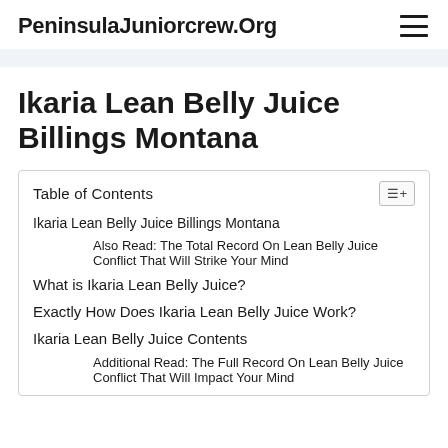PeninsulaJuniorcrew.Org
Ikaria Lean Belly Juice Billings Montana
| Table of Contents |
| --- |
| Ikaria Lean Belly Juice Billings Montana |
| Also Read: The Total Record On Lean Belly Juice Conflict That Will Strike Your Mind |
| What is Ikaria Lean Belly Juice? |
| Exactly How Does Ikaria Lean Belly Juice Work? |
| Ikaria Lean Belly Juice Contents |
| Additional Read: The Full Record On Lean Belly Juice Conflict That Will Impact Your Mind |